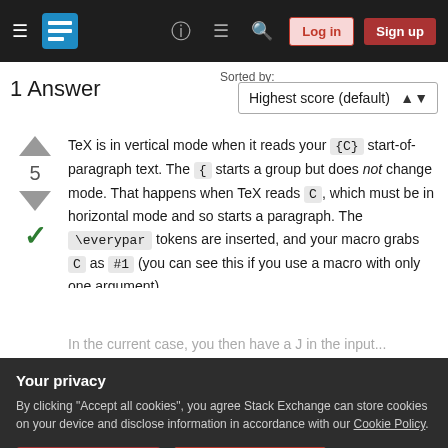Stack Exchange navigation bar with hamburger menu, logo, help, chat, search icons, Log in and Sign up buttons
Sorted by:
1 Answer
Highest score (default)
TeX is in vertical mode when it reads your {C} start-of-paragraph text. The { starts a group but does not change mode. That happens when TeX reads C, which must be in horizontal mode and so starts a paragraph. The \everypar tokens are inserted, and your macro grabs C as #1 (you can see this if you use a macro with only one argument).
Your privacy
By clicking "Accept all cookies", you agree Stack Exchange can store cookies on your device and disclose information in accordance with our Cookie Policy.
Accept all cookies
Customize settings
o TeX definition for \leavevmode